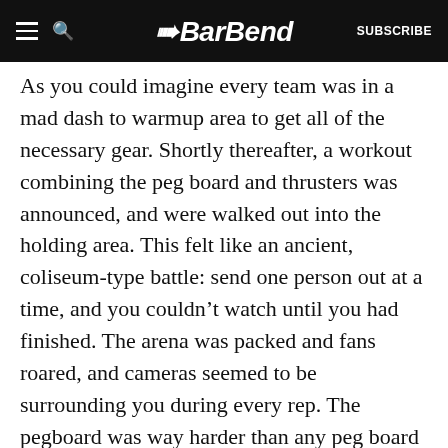BarBend | SUBSCRIBE
As you could imagine every team was in a mad dash to warmup area to get all of the necessary gear. Shortly thereafter, a workout combining the peg board and thrusters was announced, and were walked out into the holding area. This felt like an ancient, coliseum-type battle: send one person out at a time, and you couldn't watch until you had finished. The arena was packed and fans roared, and cameras seemed to be surrounding you during every rep. The pegboard was way harder than any peg board I had ever used before, and it